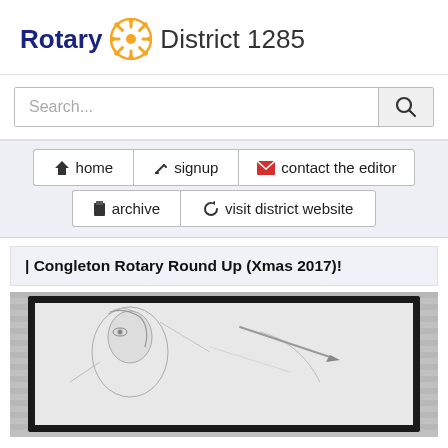Rotary District 1285
Search...
home
signup
contact the editor
archive
visit district website
| Congleton Rotary Round Up (Xmas 2017)!
[Figure (photo): A pencil sketch or drawing displayed in a black frame, showing faces or figures in a sketched style]